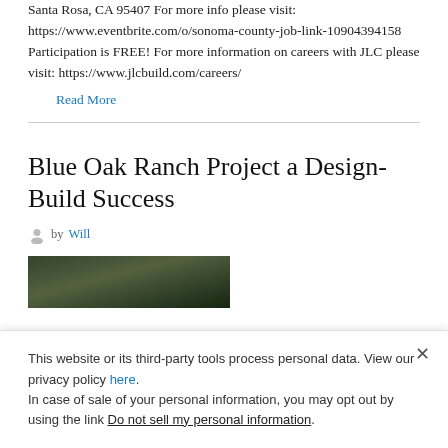Santa Rosa, CA 95407 For more info please visit: https://www.eventbrite.com/o/sonoma-county-job-link-10904394158 Participation is FREE! For more information on careers with JLC please visit: https://www.jlcbuild.com/careers/
Read More
Blue Oak Ranch Project a Design-Build Success
by Will
[Figure (photo): Partial view of an outdoor photo, appears to be a ranch or natural landscape, cropped at the bottom of the visible area.]
This website or its third-party tools process personal data. View our privacy policy here. In case of sale of your personal information, you may opt out by using the link Do not sell my personal information.